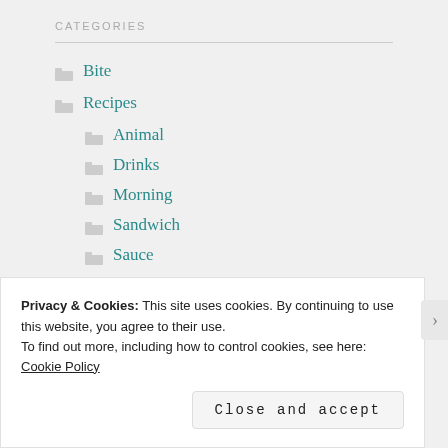CATEGORIES
Bite
Recipes
Animal
Drinks
Morning
Sandwich
Sauce
Snack
Privacy & Cookies: This site uses cookies. By continuing to use this website, you agree to their use.
To find out more, including how to control cookies, see here:
Cookie Policy
Close and accept